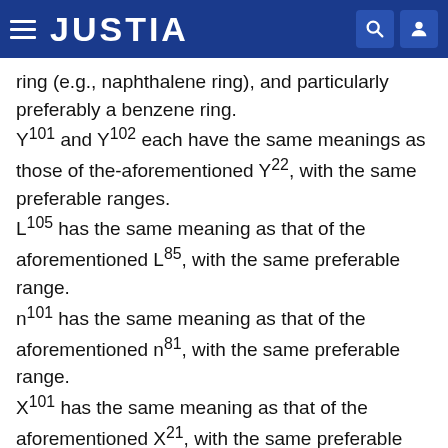JUSTIA
ring (e.g., naphthalene ring), and particularly preferably a benzene ring.
Y101 and Y102 each have the same meanings as those of the-aforementioned Y22, with the same preferable ranges.
L105 has the same meaning as that of the aforementioned L85, with the same preferable range.
n101 has the same meaning as that of the aforementioned n81, with the same preferable range.
X101 has the same meaning as that of the aforementioned X21, with the same preferable range.
The compound of the present invention may be a low molecular compound, or may be an oligomer